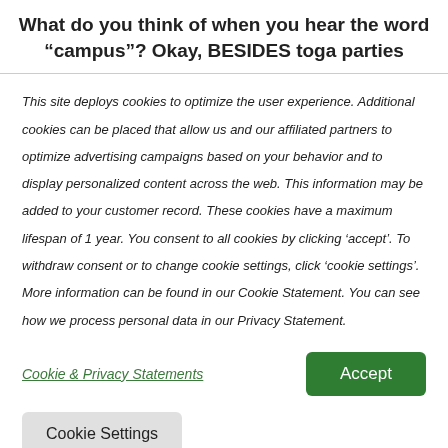What do you think of when you hear the word “campus”? Okay, BESIDES toga parties
This site deploys cookies to optimize the user experience. Additional cookies can be placed that allow us and our affiliated partners to optimize advertising campaigns based on your behavior and to display personalized content across the web. This information may be added to your customer record. These cookies have a maximum lifespan of 1 year. You consent to all cookies by clicking ‘accept’. To withdraw consent or to change cookie settings, click ‘cookie settings’. More information can be found in our Cookie Statement. You can see how we process personal data in our Privacy Statement.
Cookie & Privacy Statements
Accept
Cookie Settings